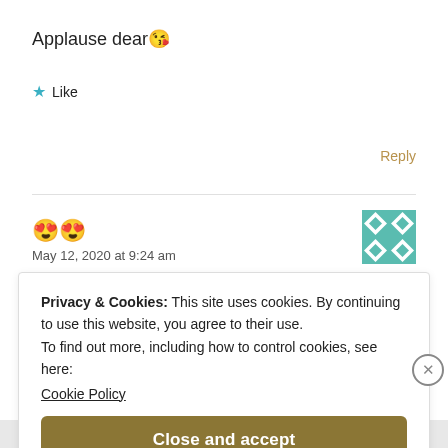Applause dear 😘
★ Like
Reply
😍😍
May 12, 2020 at 9:24 am
Privacy & Cookies: This site uses cookies. By continuing to use this website, you agree to their use.
To find out more, including how to control cookies, see here:
Cookie Policy
Close and accept